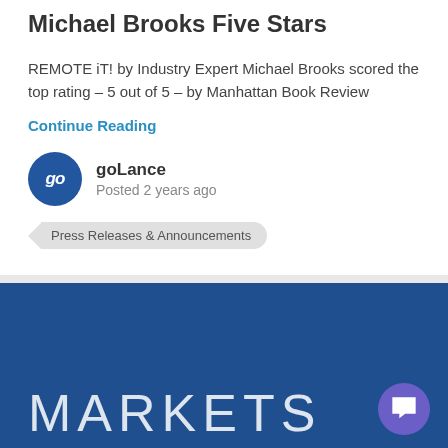Michael Brooks Five Stars
REMOTE iT! by Industry Expert Michael Brooks scored the top rating – 5 out of 5 – by Manhattan Book Review
Continue Reading
goLance
Posted 2 years ago
Press Releases & Announcements
[Figure (logo): Blue background banner with the word MARKETS in large white letters, and a purple chat bubble icon in the bottom right corner]